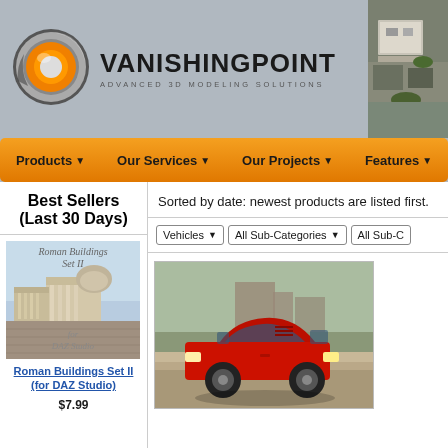[Figure (logo): Vanishing Point logo with orange and silver 3D ring/circle graphic]
VANISHING POINT
ADVANCED 3D MODELING SOLUTIONS
[Figure (photo): Aerial view of building/structure, top-right header image]
Products ▼   Our Services ▼   Our Projects ▼   Features ▼
Best Sellers (Last 30 Days)
[Figure (illustration): Roman Buildings Set II for DAZ Studio product cover image]
Roman Buildings Set II (for DAZ Studio) $7.99
Sorted by date: newest products are listed first.
[Figure (screenshot): Filter dropdowns: Vehicles, All Sub-Categories, All Sub-C]
[Figure (photo): Red Ferrari F40 sports car in landscape setting]